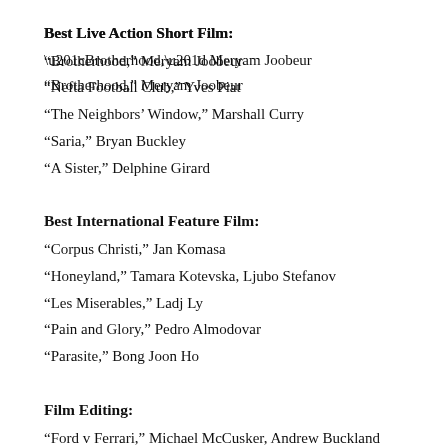Best Live Action Short Film:
“Brotherhood,” Meryam Joobeur
“Nefta Football Club,” Yves Piat
“The Neighbors’ Window,” Marshall Curry
“Saria,” Bryan Buckley
“A Sister,” Delphine Girard
Best International Feature Film:
“Corpus Christi,” Jan Komasa
“Honeyland,” Tamara Kotevska, Ljubo Stefanov
“Les Miserables,” Ladj Ly
“Pain and Glory,” Pedro Almodovar
“Parasite,” Bong Joon Ho
Film Editing:
“Ford v Ferrari,” Michael McCusker, Andrew Buckland